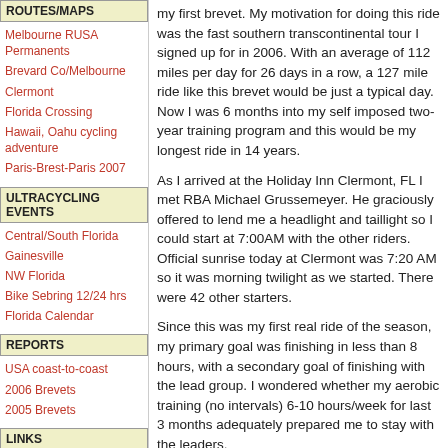ROUTES/MAPS
Melbourne RUSA Permanents
Brevard Co/Melbourne
Clermont
Florida Crossing
Hawaii, Oahu cycling adventure
Paris-Brest-Paris 2007
ULTRACYCLING EVENTS
Central/South Florida
Gainesville
NW Florida
Bike Sebring 12/24 hrs
Florida Calendar
REPORTS
USA coast-to-coast
2006 Brevets
2005 Brevets
LINKS
Randonneurs USA
UMCA
PAC Tour
my first brevet. My motivation for doing this ride was the fast southern transcontinental tour I signed up for in 2006. With an average of 112 miles per day for 26 days in a row, a 127 mile ride like this brevet would be just a typical day. Now I was 6 months into my self imposed two-year training program and this would be my longest ride in 14 years.
As I arrived at the Holiday Inn Clermont, FL I met RBA Michael Grussemeyer.  He graciously offered to lend me a headlight and taillight so I could start at 7:00AM with the other riders. Official sunrise today at Clermont was 7:20 AM so it was morning twilight as we started. There were 42 other starters.
Since this was my first real ride of the season, my primary goal was finishing in less than 8 hours, with a secondary goal of finishing with the lead group.  I wondered whether my aerobic training (no intervals) 6-10 hours/week for last 3 months adequately prepared me to stay with the leaders.
My plan was to ride near the front at the start. This assured that I would be in the lead group if a split formed.  Then I would ride with them as long as I could comfortably do